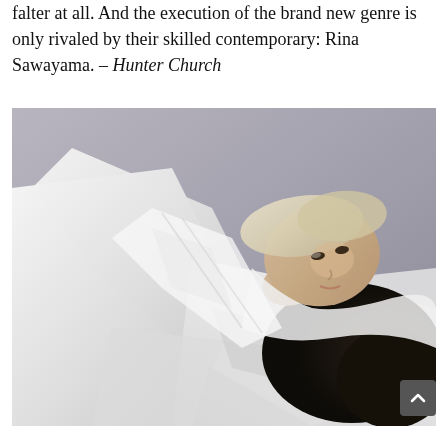falter at all. And the execution of the brand new genre is only rivaled by their skilled contemporary: Rina Sawayama. – Hunter Church
[Figure (photo): A person with blonde hair wearing white clothing, lying down with their head resting on what appears to be a dark-haired surface, photographed against a grey background.]